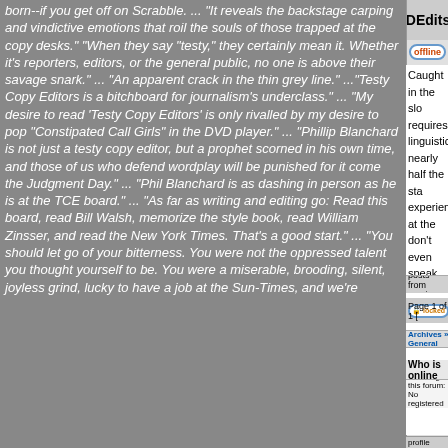born--if you get off on Scrabble. ... "It reveals the backstage carping and vindictive emotions that roil the souls of those trapped at the copy desks." "When they say "testy," they certainly mean it. Whether it's reporters, editors, or the general public, no one is above their savage snark." ... "An apparent crack in the thin grey line." ..."Testy Copy Editors is a bitchboard for journalism's underclass." ... "My desire to read 'Testy Copy Editors' is only rivalled by my desire to pop "Constipated Call Girls" in the DVD player." ... "Phillip Blanchard is not just a testy copy editor, but a prophet scorned in his own time, and those of us who defend wordplay will be punished for it come the Judgment Day." ... "Phil Blanchard is as dashing in person as he is at the TCE board." ... "As far as writing and editing go: Read this board, read Bill Walsh, memorize the style book, read William Zinsser, and read the New York Times. That's a good start." ... "You should let go of your bitterness. You were not the oppressed talent you thought yourself to be. You were a miserable, brooding, silent, joyless grind, lucky to have a job at the Sun-Times, and we're
DEdits
Post subject: Say wha
offline
Caught in the slo requires linguistic nearly half the sta experience at the don't even speak
Joined: Tue Jun 08, 2004 2:01 am
Posts: 10
Location: Los Angeles
Top
profile
Display posts from previous: Al
locked
locked
Page 1 of 1 [
Board index » Archives » General Discussion Pas
Who is online
Users browsing this forum: No registered users and 2